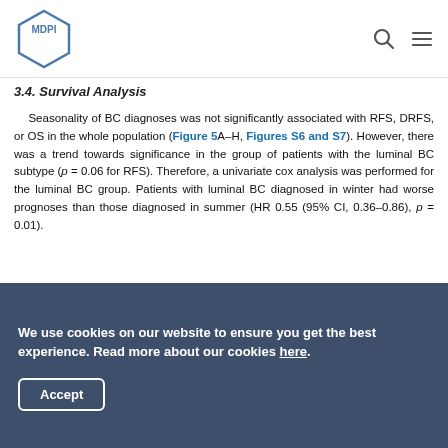MDPI
3.4. Survival Analysis
Seasonality of BC diagnoses was not significantly associated with RFS, DRFS, or OS in the whole population (Figure 5A–H, Figures S6 and S7). However, there was a trend towards significance in the group of patients with the luminal BC subtype (p = 0.06 for RFS). Therefore, a univariate cox analysis was performed for the luminal BC group. Patients with luminal BC diagnosed in winter had worse prognoses than those diagnosed in summer (HR 0.55 (95% CI, 0.36–0.86), p = 0.01).
[Figure (other): Kaplan-Meier survival curve panels A, B, C, D showing survival analysis results for BC subtypes across seasons]
We use cookies on our website to ensure you get the best experience. Read more about our cookies here.
Accept